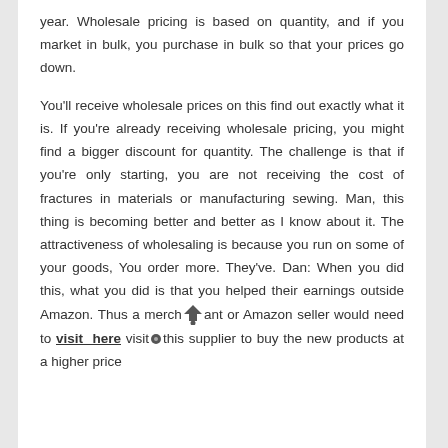year. Wholesale pricing is based on quantity, and if you market in bulk, you purchase in bulk so that your prices go down.

You'll receive wholesale prices on this find out exactly what it is. If you're already receiving wholesale pricing, you might find a bigger discount for quantity. The challenge is that if you're only starting, you are not receiving the cost of fractures in materials or manufacturing sewing. Man, this thing is becoming better and better as I know about it. The attractiveness of wholesaling is because you run on some of your goods, You order more. They've. Dan: When you did this, what you did is that you helped their earnings outside Amazon. Thus a merchant or Amazon seller would need to visit here visit this supplier to buy the new products at a higher price